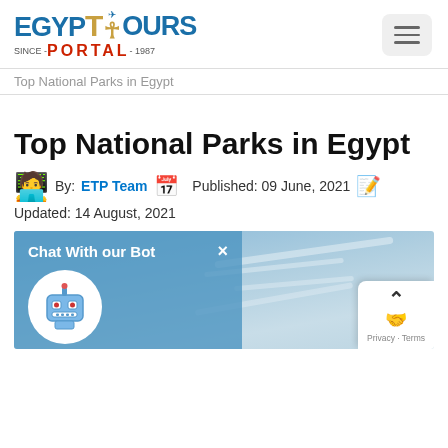[Figure (logo): Egypt Tours Portal logo with ankh symbol and airplane, SINCE-PORTAL-1987 tagline]
Top National Parks in Egypt
Top National Parks in Egypt
By: ETP Team  Published: 09 June, 2021
Updated: 14 August, 2021
[Figure (photo): Blue sky with clouds, partially overlaid by a chatbot widget popup with text 'Chat With our Bot' and a robot icon. A privacy/terms popup is visible at the bottom right.]